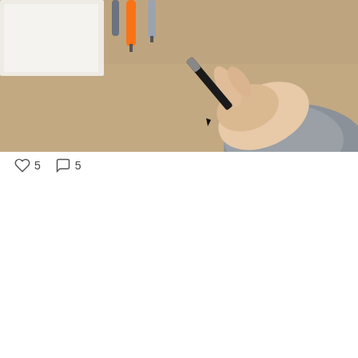[Figure (photo): Overhead view of a hand holding a black marker on a tan/brown surface, with colorful pens in the upper left corner]
DESIGN / proofreading / graphic design / tips & tricks / motion graphics / c...
23 Tips To Help You Become A Good Graphic Designer
by Ruchi Bhargava - 17 July, 2017
There is a difference between a good and a great designer. Become a great one.